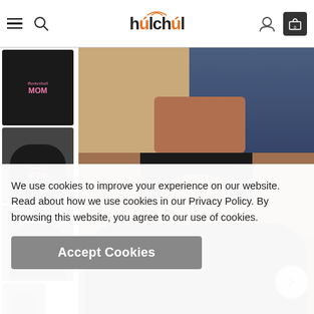hulchul — navigation bar with hamburger menu, search, user account, and cart icons
[Figure (photo): E-commerce product page showing a black 'Basketball Mom' sweatshirt. Left column shows thumbnail images of the product from different angles. Main image shows a woman wearing the black sweatshirt with 'Basketball Mom' printed in pink cursive and block letters with an orange basketball. A navigation arrow is visible on the right side.]
We use cookies to improve your experience on our website. Read about how we use cookies in our Privacy Policy. By browsing this website, you agree to our use of cookies.
Accept Cookies